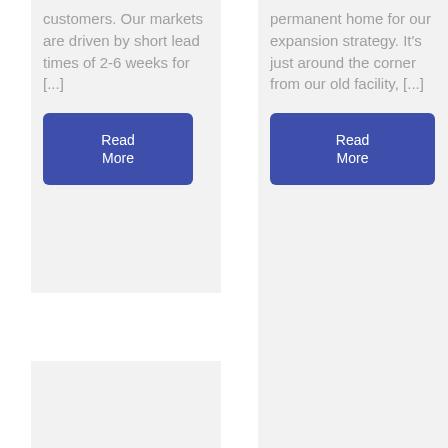customers. Our markets are driven by short lead times of 2-6 weeks for [...]
Read More
permanent home for our expansion strategy. It’s just around the corner from our old facility, [...]
Read More